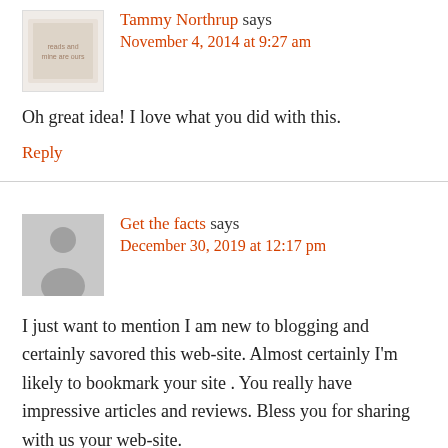Tammy Northrup says
November 4, 2014 at 9:27 am
Oh great idea! I love what you did with this.
Reply
Get the facts says
December 30, 2019 at 12:17 pm
I just want to mention I am new to blogging and certainly savored this web-site. Almost certainly I'm likely to bookmark your site . You really have impressive articles and reviews. Bless you for sharing with us your web-site.